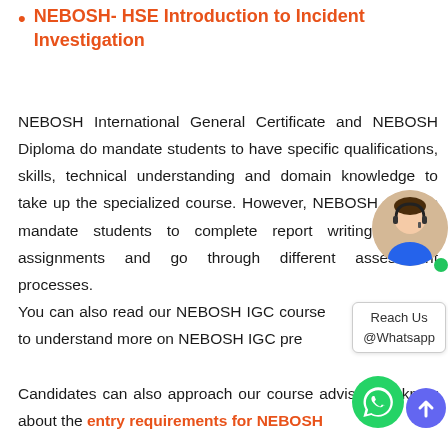NEBOSH- HSE Introduction to Incident Investigation
NEBOSH International General Certificate and NEBOSH Diploma do mandate students to have specific qualifications, skills, technical understanding and domain knowledge to take up the specialized course. However, NEBOSH courses mandate students to complete report writing, project assignments and go through different assessment processes.
You can also read our NEBOSH IGC course blogs to understand more on NEBOSH IGC preparation.
Candidates can also approach our course advisors to know about the entry requirements for NEBOSH